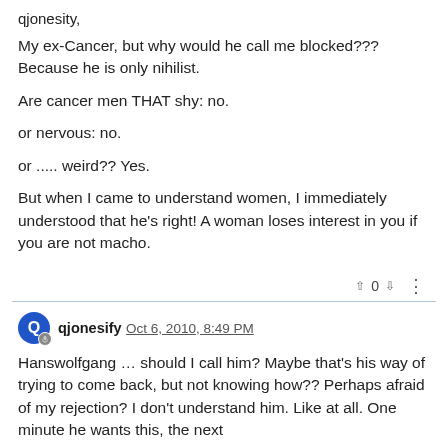qjonesity,
My ex-Cancer, but why would he call me blocked??? Because he is only nihilist.
Are cancer men THAT shy: no.
or nervous: no.
or ..... weird?? Yes.
But when I came to understand women, I immediately understood that he's right! A woman loses interest in you if you are not macho.
qjonesify Oct 6, 2010, 8:49 PM
Hanswolfgang … should I call him? Maybe that's his way of trying to come back, but not knowing how?? Perhaps afraid of my rejection? I don't understand him. Like at all. One minute he wants this, the next